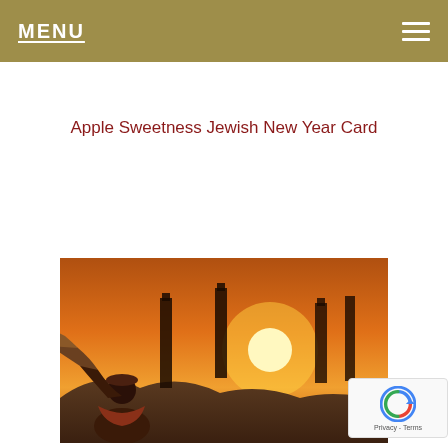MENU
Apple Sweetness Jewish New Year Card
Add to cart
[Figure (photo): Photo of a person blowing a shofar (ram's horn) against a dramatic orange sunset sky with silhouetted candles or structures in the background. The image is warm-toned with deep oranges and reds.]